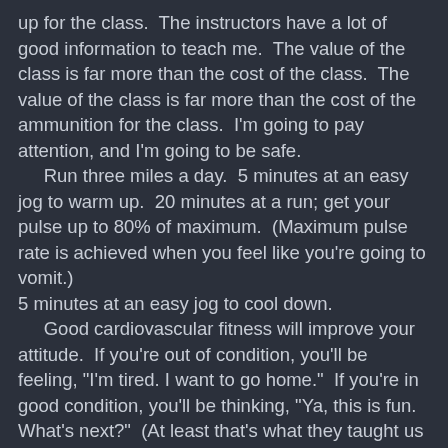up for the class.  The instructors have a lot of good information to teach me.  The value of the class is far more than the cost of the class.  The value of the class is far more than the cost of the ammunition for the class.  I'm going to pay attention, and I'm going to be safe.
     Run three miles a day.  5 minutes at an easy jog to warm up.  20 minutes at a run; get your pulse up to 80% of maximum.  (Maximum pulse rate is achieved when you feel like you're going to vomit.) 5 minutes at an easy jog to cool down.
     Good cardiovascular fitness will improve your attitude.  If you're out of condition, you'll be feeling, "I'm tired. I want to go home."  If you're in good condition, you'll be thinking, "Ya, this is fun.  What's next?"  (At least that's what they taught us at the Olympic Training Center in Colorado Springs, CO.)
     Do pull-ups.  The Marine Corps thinks